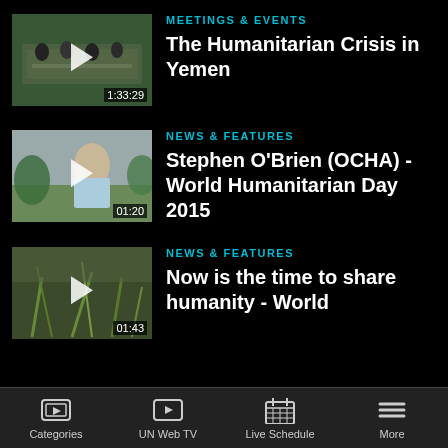[Figure (screenshot): Video thumbnail showing a UN meeting room with delegates seated at tables]
MEETINGS & EVENTS
The Humanitarian Crisis in Yemen
[Figure (screenshot): Video thumbnail showing a man (Stephen O'Brien) outdoors in a field setting]
NEWS & FEATURES
Stephen O'Brien (OCHA) - World Humanitarian Day 2015
[Figure (screenshot): Video thumbnail showing storm damage with broken vegetation]
NEWS & FEATURES
Now is the time to share humanity - World
Categories   UN Web TV   Live Schedule   More